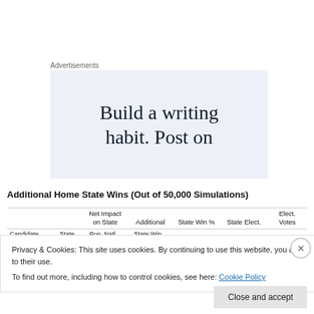Advertisements
[Figure (other): Advertisement banner with text: Build a writing habit. Post on]
Additional Home State Wins (Out of 50,000 Simulations)
|  |  | Net Impact on State | Additional | State Win % | State Elect. | Elect. Votes |
| --- | --- | --- | --- | --- | --- | --- |
| Candidate | State | Pop. Natl... | State Wins... | (unlabeled) | (unlabeled) | (unlabeled) |
Privacy & Cookies: This site uses cookies. By continuing to use this website, you agree to their use.
To find out more, including how to control cookies, see here: Cookie Policy
Close and accept